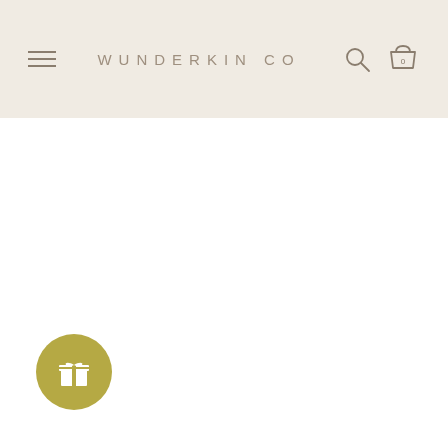WUNDERKIN CO
[Figure (logo): Gift/rewards circular button with gift box icon in olive/gold color at bottom left of page]